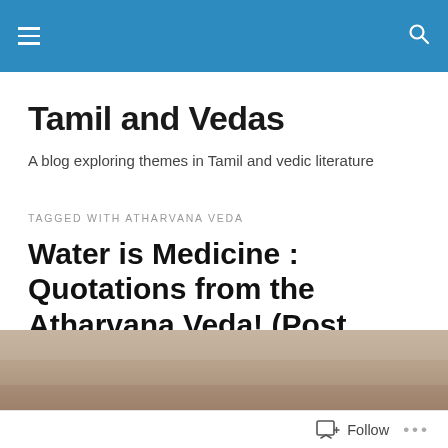Tamil and Vedas – navigation bar
Tamil and Vedas
A blog exploring themes in Tamil and vedic literature
TAGGED WITH ATHARVANA VEDA
Water is Medicine : Quotations from the Atharvana Veda! (Post no.10,495)
[Figure (photo): A blurry brownish/tan background image, partial view]
Follow ...